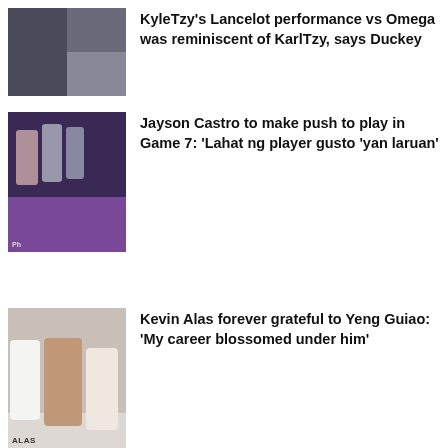[Figure (photo): Two-panel photo of gamers/esports players at computers]
KyleTzy's Lancelot performance vs Omega was reminiscent of KarlTzy, says Duckey
[Figure (photo): Basketball coach and players sitting courtside, purple background]
Jayson Castro to make push to play in Game 7: 'Lahat ng player gusto 'yan laruan'
[Figure (photo): Basketball players in huddle, one wearing jersey with ALAS]
Kevin Alas forever grateful to Yeng Guiao: 'My career blossomed under him'